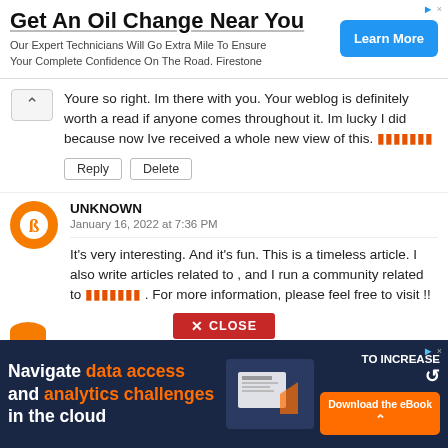[Figure (screenshot): Top advertisement banner: 'Get An Oil Change Near You' with 'Learn More' button in blue, Firestone ad]
Youre so right. Im there with you. Your weblog is definitely worth a read if anyone comes throughout it. Im lucky I did because now Ive received a whole new view of this. [orange link text]
Reply | Delete
UNKNOWN
January 16, 2022 at 7:36 PM
It's very interesting. And it's fun. This is a timeless article. I also write articles related to , and I run a community related to [orange link] . For more information, please feel free to visit !!
[Figure (screenshot): Close button overlay (red X CLOSE button) and bottom advertisement: 'Navigate data access and analytics challenges in the cloud' with Download the eBook button]